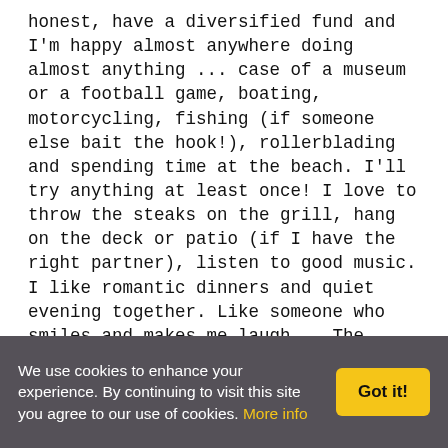honest, have a diversified fund and I'm happy almost anywhere doing almost anything ... case of a museum or a football game, boating, motorcycling, fishing (if someone else bait the hook!), rollerblading and spending time at the beach. I'll try anything at least once! I love to throw the steaks on the grill, hang on the deck or patio (if I have the right partner), listen to good music. I like romantic dinners and quiet evening together. Like someone who smiles and makes me laugh .. The family must be important. I do some traveling. I am the chillest person could ever meet. I like doing almost anything ... not big on camping, because I have a fear of insects. Baby Call me if you must! Nothing to do with music (concerts, festivals, etc. .. with a lot of RAP) is mine. I love Clapton, Zeppelin, Petty, Steve Miller ... you know,
We use cookies to enhance your experience. By continuing to visit this site you agree to our use of cookies. More info